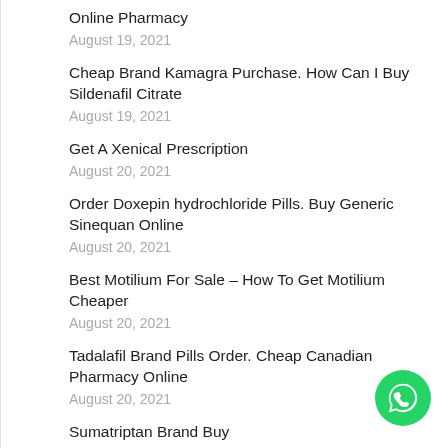Online Pharmacy
August 19, 2021
Cheap Brand Kamagra Purchase. How Can I Buy Sildenafil Citrate
August 19, 2021
Get A Xenical Prescription
August 20, 2021
Order Doxepin hydrochloride Pills. Buy Generic Sinequan Online
August 20, 2021
Best Motilium For Sale – How To Get Motilium Cheaper
August 20, 2021
Tadalafil Brand Pills Order. Cheap Canadian Pharmacy Online
August 20, 2021
Sumatriptan Brand Buy
August 20, 2021
Vibramycin Retail Price. Canada Drug Store